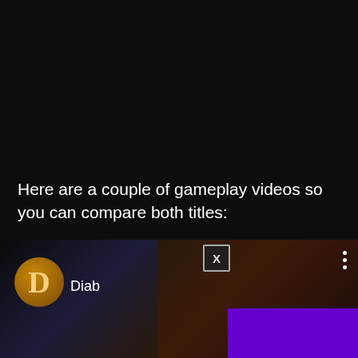Here are a couple of gameplay videos so you can compare both titles:
[Figure (screenshot): Diablo game video thumbnail partially visible at bottom of page, with an HBO Max advertisement overlay bar in purple showing 'HBOMAX' logo, an X close button, and a three-dot menu icon.]